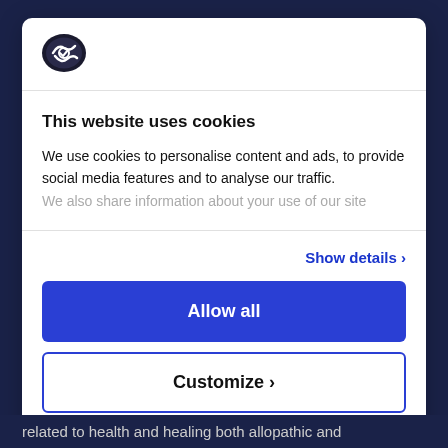[Figure (logo): Cookiebot logo - dark oval checkmark shield icon]
This website uses cookies
We use cookies to personalise content and ads, to provide social media features and to analyse our traffic. We also share information about your use of our site
Show details >
Allow all
Customize >
Powered by Cookiebot by Usercentrics
related to health and healing both allopathic and